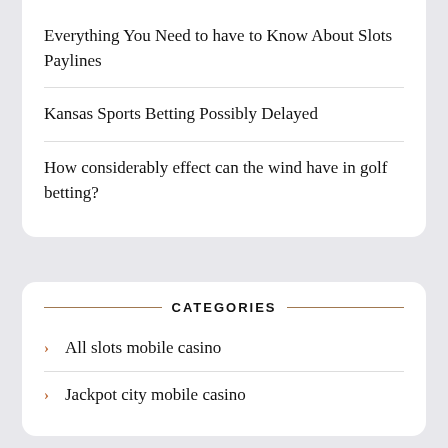Everything You Need to have to Know About Slots Paylines
Kansas Sports Betting Possibly Delayed
How considerably effect can the wind have in golf betting?
CATEGORIES
All slots mobile casino
Jackpot city mobile casino